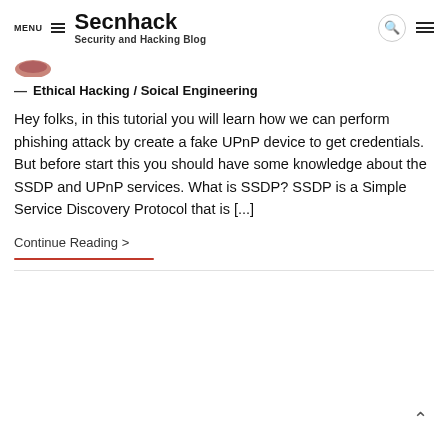MENU | Secnhack | Security and Hacking Blog
[Figure (illustration): Small decorative thumbnail image with brown/pink tones]
— Ethical Hacking / Soical Engineering
Hey folks, in this tutorial you will learn how we can perform phishing attack by create a fake UPnP device to get credentials. But before start this you should have some knowledge about the SSDP and UPnP services. What is SSDP? SSDP is a Simple Service Discovery Protocol that is [...]
Continue Reading >